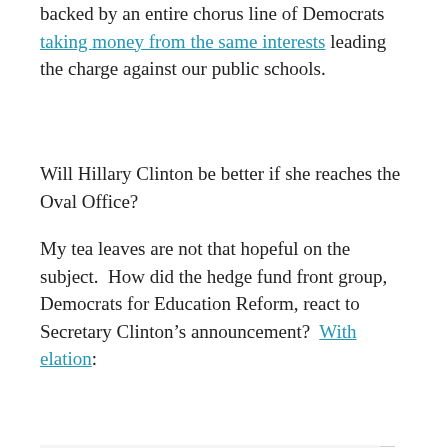backed by an entire chorus line of Democrats taking money from the same interests leading the charge against our public schools.
Will Hillary Clinton be better if she reaches the Oval Office?
My tea leaves are not that hopeful on the subject.  How did the hedge fund front group, Democrats for Education Reform, react to Secretary Clinton’s announcement?  With elation:
“We join Democrats and Americans around the country in celebrating Hillary Clinton’s announcement that she will seek the Presidency. Hillary Clinton has a proven track record of looking out for students—from her days as Arkansas’ First Lady when she spearheaded efforts to reform and